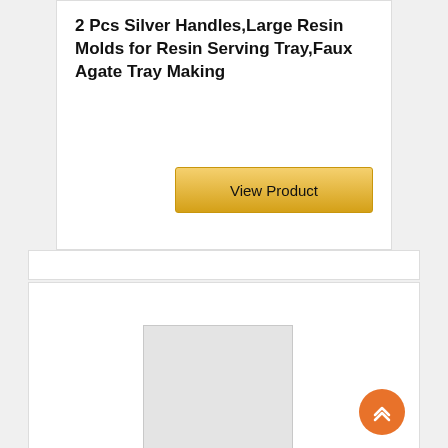2 Pcs Silver Handles,Large Resin Molds for Resin Serving Tray,Faux Agate Tray Making
[Figure (other): View Product button with golden/yellow gradient background]
[Figure (photo): Product image placeholder showing a light gray rectangular tray]
[Figure (other): Orange circular back-to-top button with double chevron up arrows]